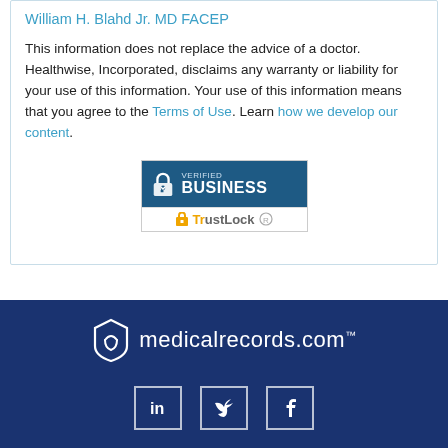William H. Blahd Jr. MD FACEP
This information does not replace the advice of a doctor. Healthwise, Incorporated, disclaims any warranty or liability for your use of this information. Your use of this information means that you agree to the Terms of Use. Learn how we develop our content.
[Figure (logo): TrustLock Verified Business badge with lock icon and TrustLock branding]
[Figure (logo): medicalrecords.com logo with shield/heart icon on dark blue footer background]
[Figure (other): Social media icons for LinkedIn, Twitter, and Facebook displayed in square outlines on dark blue background]